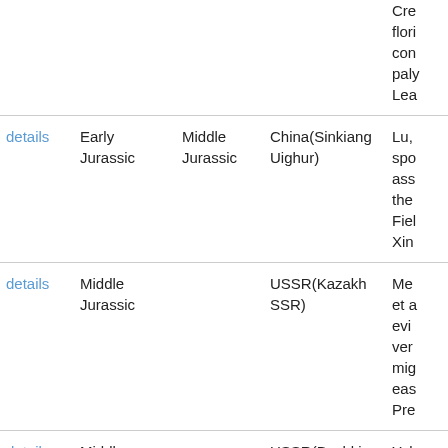|  | From | To | Country/Territory | Notes |
| --- | --- | --- | --- | --- |
|  |  |  |  | Cre... flori... con... paly... Lea... |
| details | Early Jurassic | Middle Jurassic | China(Sinkiang Uighur) | Lu,... spo... ass... the... Fiel... Xin... |
| details | Middle Jurassic |  | USSR(Kazakh SSR) | Me... et a... evi... ver... mig... eas... Pre... |
| details | Middle Jurassic |  | USSR(Bashkir ASSR) | Yak... Jur... |